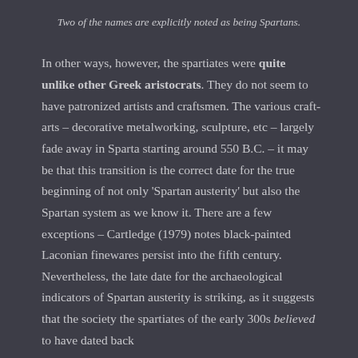Two of the names are explicitly noted as being Spartans.
In other ways, however, the spartiates were quite unlike other Greek aristocrats. They do not seem to have patronized artists and craftsmen. The various craft-arts – decorative metalworking, sculpture, etc – largely fade away in Sparta starting around 550 B.C. – it may be that this transition is the correct date for the true beginning of not only 'Spartan austerity' but also the Spartan system as we know it. There are a few exceptions – Cartledge (1979) notes black-painted Laconian finewares persist into the fifth century. Nevertheless, the late date for the archaeological indicators of Spartan austerity is striking, as it suggests that the society the spartiates of the early 300s believed to have dated back